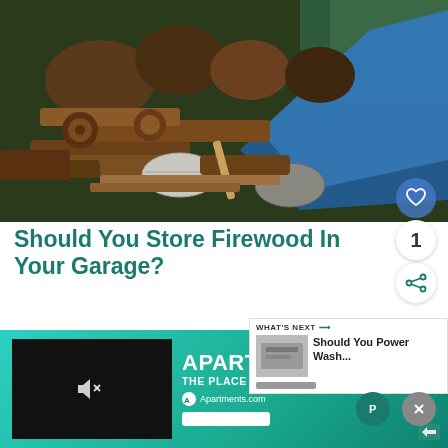[Figure (photo): A large pile of stacked firewood logs stored inside a garage or shed, with a blue tarp visible on the right side. Various sizes and types of logs are visible, some birch logs with white bark.]
Should You Store Firewood In Your Garage?
When you are storing firewood, you want dry and protected from the…
[Figure (screenshot): WHAT'S NEXT widget showing 'Should You Power Wash...' article with a thumbnail image and a progress bar]
[Figure (infographic): Advertisement banner for Apartments.com - THE PLACE TO FIND A PLACE, with a dark video player on the left, the Apartments.com logo and branding on the right, and an input field.]